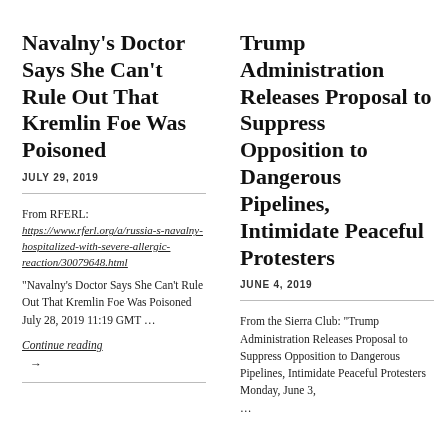Navalny's Doctor Says She Can't Rule Out That Kremlin Foe Was Poisoned
JULY 29, 2019
From RFERL:
https://www.rferl.org/a/russia-s-navalny-hospitalized-with-severe-allergic-reaction/30079648.html
"Navalny's Doctor Says She Can't Rule Out That Kremlin Foe Was Poisoned July 28, 2019 11:19 GMT …
Continue reading
→
Trump Administration Releases Proposal to Suppress Opposition to Dangerous Pipelines, Intimidate Peaceful Protesters
JUNE 4, 2019
From the Sierra Club: "Trump Administration Releases Proposal to Suppress Opposition to Dangerous Pipelines, Intimidate Peaceful Protesters Monday, June 3,